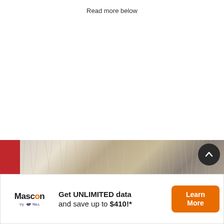Read more below
Taboola Feed
[Figure (photo): Animal fur photo strip with red branding element on the left, used as a decorative banner above an advertisement.]
Get UNLIMITED data and save up to $410!*
[Figure (logo): Mascon by TELUS logo with orange letter O and TELUS branding below.]
Learn More